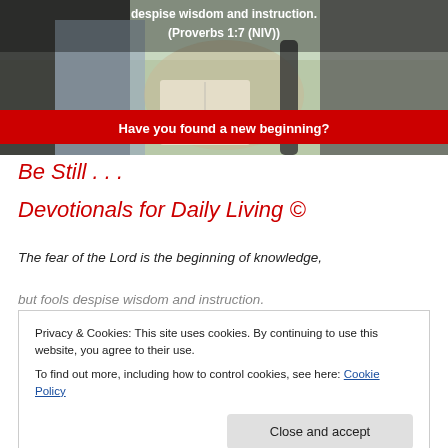[Figure (photo): Two people sharing and reading a Bible outdoors, with overlaid text: 'despise wisdom and instruction. (Proverbs 1:7 (NIV))' and a red banner reading 'Have you found a new beginning?']
Be Still . . .
Devotionals for Daily Living ©
The fear of the Lord is the beginning of knowledge,
but fools despise wisdom and instruction.
Privacy & Cookies: This site uses cookies. By continuing to use this website, you agree to their use.
To find out more, including how to control cookies, see here: Cookie Policy
Close and accept